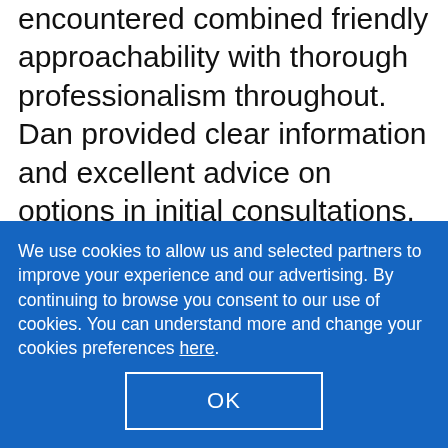encountered combined friendly approachability with thorough professionalism throughout. Dan provided clear information and excellent advice on options in initial consultations. This included suggesting use of a colour matched laminate in the utility room to complement the Caesarstone in the kitchen - producing a great result at a considerable saving. The coordination of the different stages over an 8 day period and communication with us was excellent.... read
We use cookies to allow us and selected partners to improve your experience and our advertising. By continuing to browse you consent to our use of cookies. You can understand more and change your cookies preferences here.